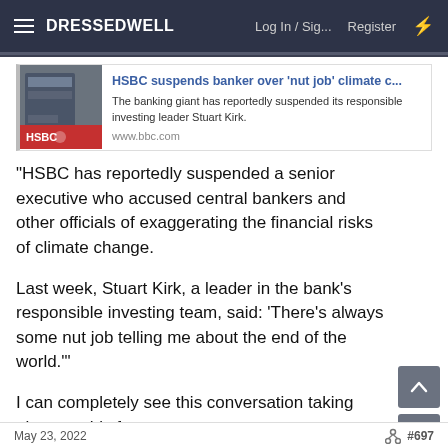DRESSEDWELL   Log In / Sig...   Register
[Figure (screenshot): Preview card for BBC article: HSBC suspends banker over 'nut job' climate c... with HSBC building thumbnail image. Description text: The banking giant has reportedly suspended its responsible investing leader Stuart Kirk. URL: www.bbc.com]
"HSBC has reportedly suspended a senior executive who accused central bankers and other officials of exaggerating the financial risks of climate change.
Last week, Stuart Kirk, a leader in the bank's responsible investing team, said: 'There's always some nut job telling me about the end of the world.'"
I can completely see this conversation taking place on this forum.
May 23, 2022   #697